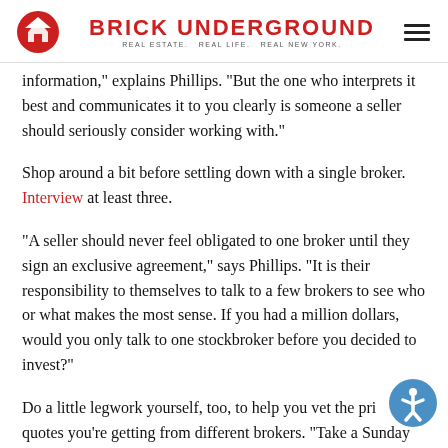BRICK UNDERGROUND — REAL ESTATE. REAL LIFE. REAL NEW YORK.
information," explains Phillips. "But the one who interprets it best and communicates it to you clearly is someone a seller should seriously consider working with."
Shop around a bit before settling down with a single broker. Interview at least three.
"A seller should never feel obligated to one broker until they sign an exclusive agreement," says Phillips. "It is their responsibility to themselves to talk to a few brokers to see who or what makes the most sense. If you had a million dollars, would you only talk to one stockbroker before you decided to invest?"
Do a little legwork yourself, too, to help you vet the price quotes you're getting from different brokers. "Take a Sunday